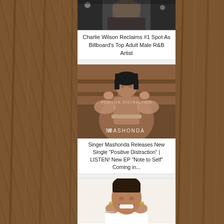[Figure (photo): Photo of Charlie Wilson at top, partially visible]
Charlie Wilson Reclaims #1 Spot As Billboard's Top Adult Male R&B Artist
[Figure (photo): Photo of singer Mashonda in a brown tulle outfit with 'POSITIVE DISTRACTION' and 'MASHONDA' text overlay]
Singer Mashonda Releases New Single "Positive Distraction" | LISTEN! New EP "Note to Self" Coming in...
[Figure (photo): Photo of smiling woman in white top, bottom of page, partially cut off]